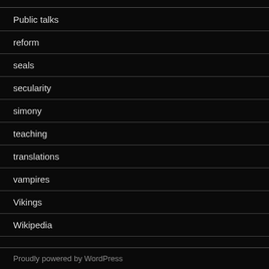Public talks
reform
seals
secularity
simony
teaching
translations
vampires
Vikings
Wikipedia
Proudly powered by WordPress